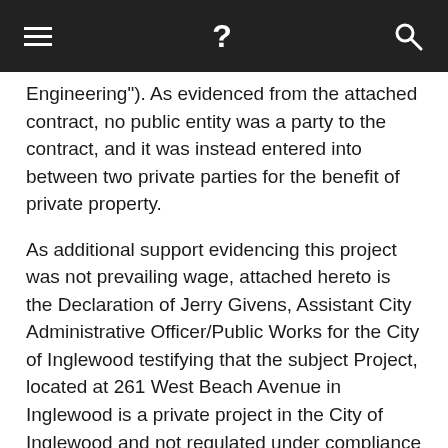toolbar with menu, help, and search icons
Engineering"). As evidenced from the attached contract, no public entity was a party to the contract, and it was instead entered into between two private parties for the benefit of private property.
As additional support evidencing this project was not prevailing wage, attached hereto is the Declaration of Jerry Givens, Assistant City Administrative Officer/Public Works for the City of Inglewood testifying that the subject Project, located at 261 West Beach Avenue in Inglewood is a private project in the City of Inglewood and not regulated under compliance requirements for public works projects.   [Declaration of Jerry Givens, page 2, paragraphs 5 and 6]. Moreover, Mr. Givens testifies that the project is not monitored nor regulated for prevailing wage. [Declaration of Jerry Givens, page 2, paragraph 5]